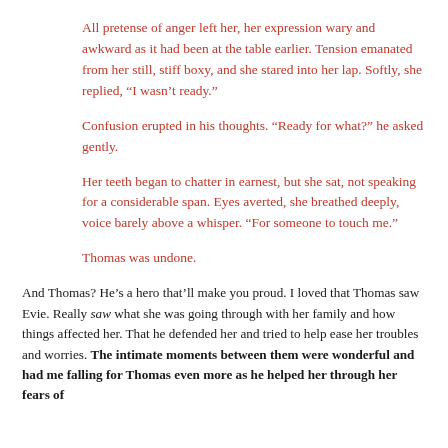All pretense of anger left her, her expression wary and awkward as it had been at the table earlier. Tension emanated from her still, stiff boxy, and she stared into her lap. Softly, she replied, "I wasn't ready."
Confusion erupted in his thoughts. "Ready for what?" he asked gently.
Her teeth began to chatter in earnest, but she sat, not speaking for a considerable span. Eyes averted, she breathed deeply, voice barely above a whisper. "For someone to touch me."
Thomas was undone.
And Thomas? He's a hero that'll make you proud. I loved that Thomas saw Evie. Really saw what she was going through with her family and how things affected her. That he defended her and tried to help ease her troubles and worries. The intimate moments between them were wonderful and had me falling for Thomas even more as he helped her through her fears of